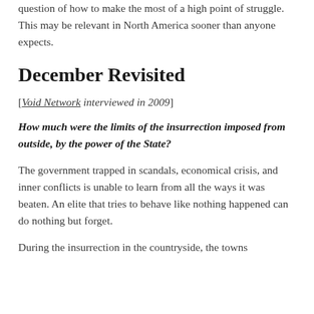question of how to make the most of a high point of struggle. This may be relevant in North America sooner than anyone expects.
December Revisited
[Void Network interviewed in 2009]
How much were the limits of the insurrection imposed from outside, by the power of the State?
The government trapped in scandals, economical crisis, and inner conflicts is unable to learn from all the ways it was beaten. An elite that tries to behave like nothing happened can do nothing but forget.
During the insurrection in the countryside, the towns